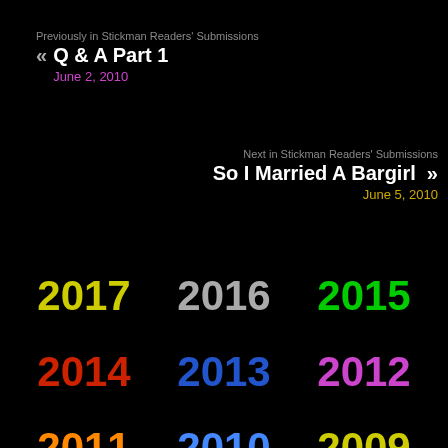Previously in Stickman Readers' Submissions
« Q & A Part 1
June 2, 2010
Next in Stickman Readers' Submissions
So I Married A Bargirl »
June 5, 2010
2017
2016
2015
2014
2013
2012
2011
2010
2009